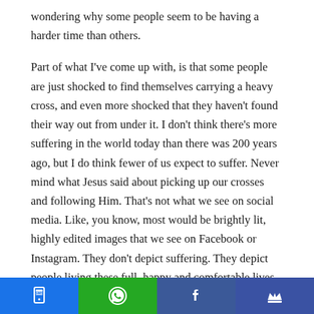wondering why some people seem to be having a harder time than others.

Part of what I've come up with, is that some people are just shocked to find themselves carrying a heavy cross, and even more shocked that they haven't found their way out from under it. I don't think there's more suffering in the world today than there was 200 years ago, but I do think fewer of us expect to suffer. Never mind what Jesus said about picking up our crosses and following Him. That's not what we see on social media. Like, you know, most would be brightly lit, highly edited images that we see on Facebook or Instagram. They don't depict suffering. They depict people living these full, happy and comfortable lives. They also suggest that if we only buy the right
Social share bar with SMS, WhatsApp, Facebook, and Crown icons